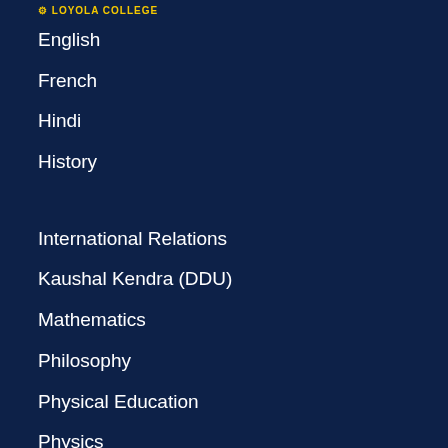Loyola College
English
French
Hindi
History
International Relations
Kaushal Kendra (DDU)
Mathematics
Philosophy
Physical Education
Physics
Plant Biology & Biotechnology